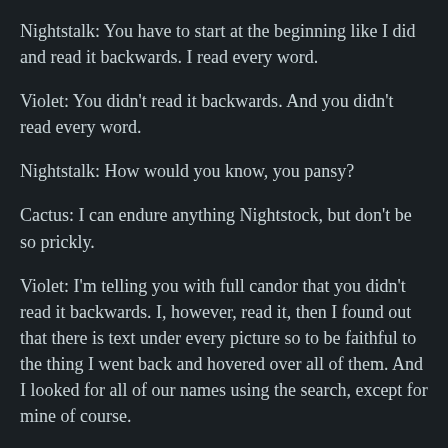Nightstalk:  You have to start at the beginning like I did and read it backwards.  I read every word.
Violet:  You didn't read it backwards.  And you didn't read every word.
Nightstalk:  How would you know, you pansy?
Cactus: I can endure anything Nightstock, but don't be so prickly.
Violet:  I'm telling you with full candor that you didn't read it backwards.  I, however, read it, then I found out that there is text under every picture so to be faithful to the thing I went back and hovered over all of them.  And I looked for all of our names using the search, except for mine of course.